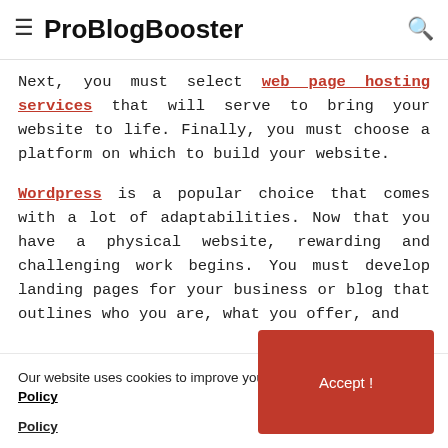≡ ProBlogBooster 🔍
Next, you must select web page hosting services that will serve to bring your website to life. Finally, you must choose a platform on which to build your website.
Wordpress is a popular choice that comes with a lot of adaptabilities. Now that you have a physical website, rewarding and challenging work begins. You must develop landing pages for your business or blog that outlines who you are, what you offer, and
Our website uses cookies to improve your experience. Privacy Policy